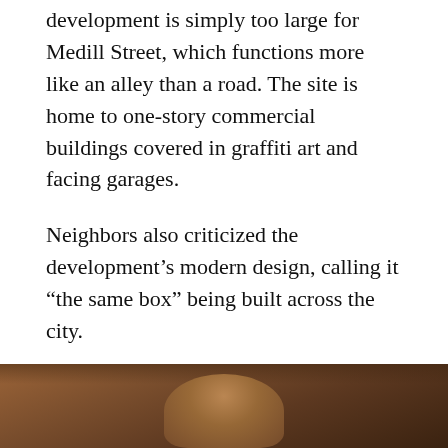development is simply too large for Medill Street, which functions more like an alley than a road. The site is home to one-story commercial buildings covered in graffiti art and facing garages.
Neighbors also criticized the development's modern design, calling it “the same box” being built across the city.
“There’s too many things getting torn down, and the box goes in its place. Soon, all you have left is the box, and then you’ve lost your neighborhood,” one neighbor said.
[Figure (photo): Partial view of a person, likely seated, visible from roughly the shoulders up, with warm brown tones in the background. Image is cropped at the bottom of the page.]